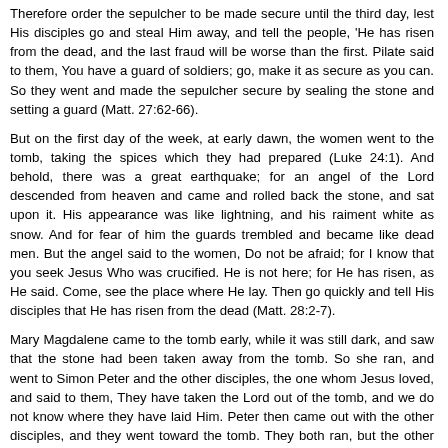Therefore order the sepulcher to be made secure until the third day, lest His disciples go and steal Him away, and tell the people, 'He has risen from the dead, and the last fraud will be worse than the first. Pilate said to them, You have a guard of soldiers; go, make it as secure as you can. So they went and made the sepulcher secure by sealing the stone and setting a guard (Matt. 27:62-66).
But on the first day of the week, at early dawn, the women went to the tomb, taking the spices which they had prepared (Luke 24:1). And behold, there was a great earthquake; for an angel of the Lord descended from heaven and came and rolled back the stone, and sat upon it. His appearance was like lightning, and his raiment white as snow. And for fear of him the guards trembled and became like dead men. But the angel said to the women, Do not be afraid; for I know that you seek Jesus Who was crucified. He is not here; for He has risen, as He said. Come, see the place where He lay. Then go quickly and tell His disciples that He has risen from the dead (Matt. 28:2-7).
Mary Magdalene came to the tomb early, while it was still dark, and saw that the stone had been taken away from the tomb. So she ran, and went to Simon Peter and the other disciples, the one whom Jesus loved, and said to them, They have taken the Lord out of the tomb, and we do not know where they have laid Him. Peter then came out with the other disciples, and they went toward the tomb. They both ran, but the other disciples outran Peter